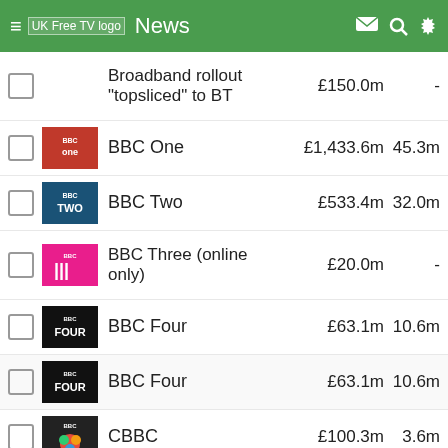UK Free TV logo  News
Broadband rollout "topsliced" to BT  £150.0m  -
BBC One  £1,433.6m  45.3m
BBC Two  £533.4m  32.0m
BBC Three (online only)  £20.0m  -
BBC Four  £63.1m  10.6m
BBC Four  £63.1m  10.6m
CBBC  £100.3m  3.6m
CBeebies  £41.1m  5.8m
BBC ALBA  £9.0m  -
BBC News channel  £63.0m  8.8m